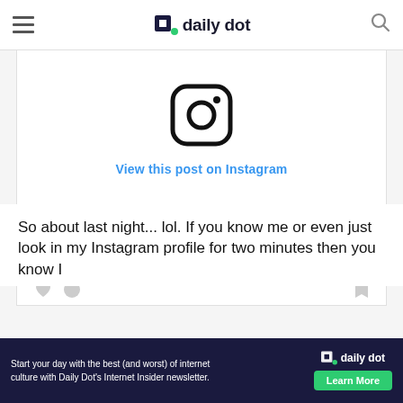daily dot
[Figure (screenshot): Instagram embed placeholder with Instagram camera icon and 'View this post on Instagram' link in blue, with like and bookmark action icons below]
So about last night... lol. If you know me or even just look in my Instagram profile for two minutes then you know I
[Figure (infographic): Daily Dot newsletter advertisement banner: 'Start your day with the best (and worst) of internet culture with Daily Dot's Internet Insider newsletter.' with Daily Dot logo and 'Learn More' green button]